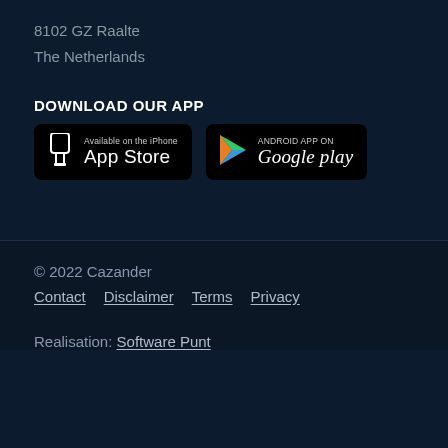8102 GZ Raalte
The Netherlands
DOWNLOAD OUR APP
[Figure (other): App Store badge - Available on the iPhone App Store]
[Figure (other): Google Play badge - Android App on Google play]
© 2022 Cazander
Contact   Disclaimer   Terms   Privacy
Realisation: Software Punt